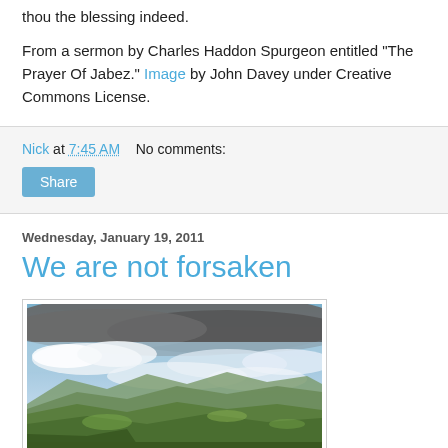thou the blessing indeed.
From a sermon by Charles Haddon Spurgeon entitled "The Prayer Of Jabez." Image by John Davey under Creative Commons License.
Nick at 7:45 AM    No comments:
Share
Wednesday, January 19, 2011
We are not forsaken
[Figure (photo): Landscape photo showing rolling green hills under a partly cloudy blue sky with layered clouds and mountains in the distance.]